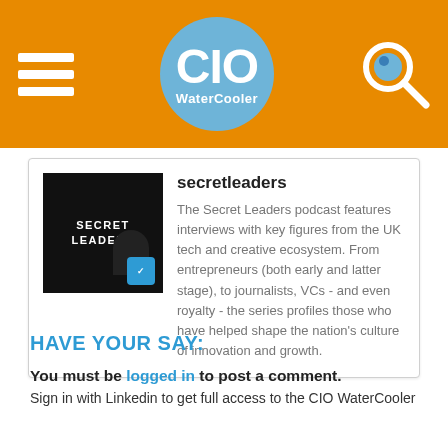CIO WaterCooler
[Figure (logo): Secret Leaders podcast logo — black background with white text 'SECRET LEADERS' and a silhouette figure]
secretleaders
The Secret Leaders podcast features interviews with key figures from the UK tech and creative ecosystem. From entrepreneurs (both early and latter stage), to journalists, VCs - and even royalty - the series profiles those who have helped shape the nation's culture of innovation and growth.
HAVE YOUR SAY:
You must be logged in to post a comment.
Sign in with Linkedin to get full access to the CIO WaterCooler